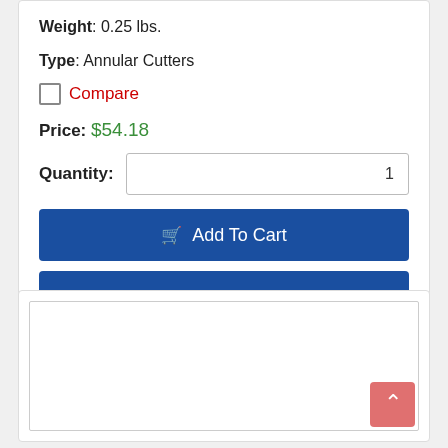Weight: 0.25 lbs.
Type: Annular Cutters
Compare
Price: $54.18
Quantity: 1
Add To Cart
Add To List
[Figure (screenshot): Empty white box area at bottom of page with a pink/red scroll-to-top arrow button in the bottom right corner]